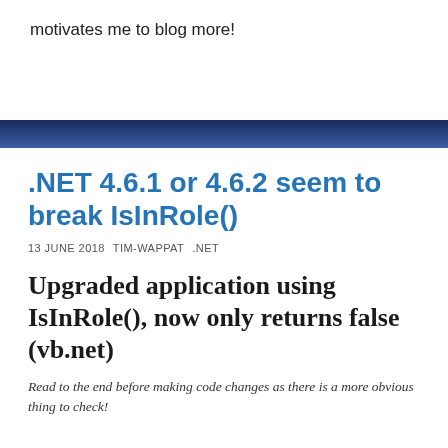motivates me to blog more!
.NET 4.6.1 or 4.6.2 seem to break IsInRole()
13 JUNE 2018  TIM-WAPPAT  .NET
Upgraded application using IsInRole(), now only returns false (vb.net)
Read to the end before making code changes as there is a more obvious thing to check!